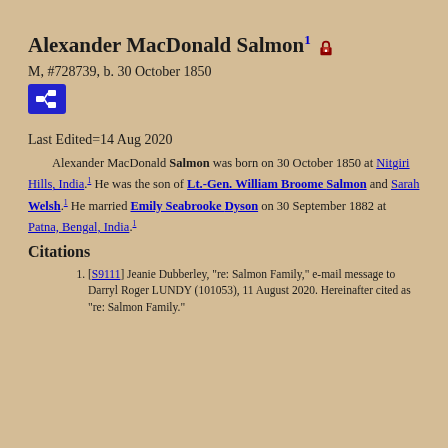Alexander MacDonald Salmon¹ 🔒
M, #728739, b. 30 October 1850
Last Edited=14 Aug 2020
Alexander MacDonald Salmon was born on 30 October 1850 at Nitgiri Hills, India.¹ He was the son of Lt.-Gen. William Broome Salmon and Sarah Welsh.¹ He married Emily Seabrooke Dyson on 30 September 1882 at Patna, Bengal, India.¹
Citations
[S9111] Jeanie Dubberley, "re: Salmon Family," e-mail message to Darryl Roger LUNDY (101053), 11 August 2020. Hereinafter cited as "re: Salmon Family."